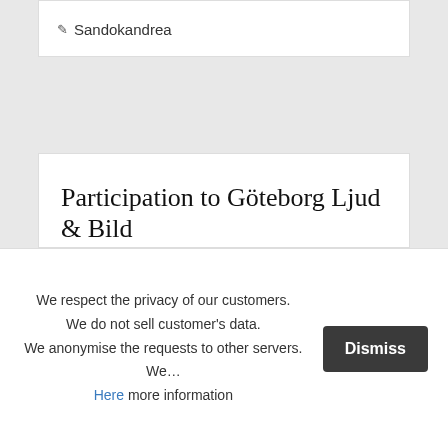✎ Sandokandrea
Participation to Göteborg Ljud & Bild
📅 02-10-2014, 04:22  🏷 HiFi Show , International , Sweden
...and now is time to tell the story of our Göteborg Ljud & Bild
We were playing in Hotel Hotel Scandic Opalen. Room Bohus
We respect the privacy of our customers.
We do not sell customer's data.
We anonymise the requests to other servers.
We…
Here more information